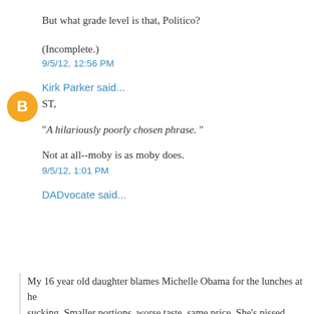But what grade level is that, Politico?
(Incomplete.)
9/5/12, 12:56 PM
Kirk Parker said...
ST,
"A hilariously poorly chosen phrase. "
Not at all--moby is as moby does.
9/5/12, 1:01 PM
DADvocate said...
My 16 year old daughter blames Michelle Obama for the lunches at he sucking. Smaller portions, worse taste, same price. She's pissed. (Serio Obama would lose an election at my daughter's high school.)